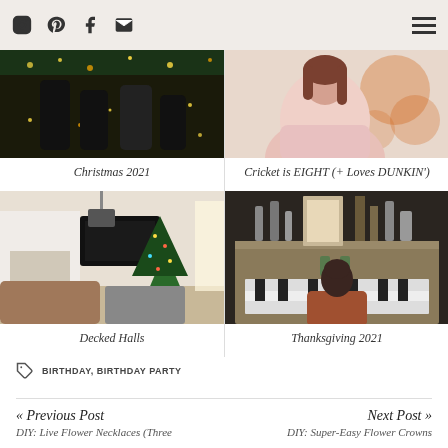Social icons (Instagram, Pinterest, Facebook, Email) and hamburger menu
[Figure (photo): People hugging near Christmas tree with lights]
Christmas 2021
[Figure (photo): Girl in pink jacket at Dunkin' Donuts]
Cricket is EIGHT (+ Loves DUNKIN')
[Figure (photo): Living room decorated for Christmas with tree and fireplace]
Decked Halls
[Figure (photo): Person sitting at piano with holiday bar setup on top]
Thanksgiving 2021
BIRTHDAY, BIRTHDAY PARTY
« Previous Post
DIY: Live Flower Necklaces (Three
Next Post »
DIY: Super-Easy Flower Crowns